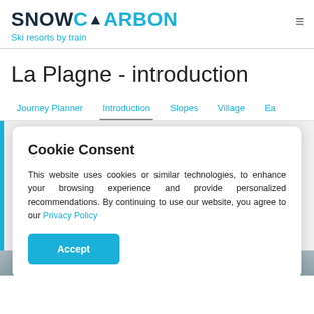SNOWCARBON - Ski resorts by train
La Plagne - introduction
Journey Planner  Introduction  Slopes  Village  Ea...
Cookie Consent
This website uses cookies or similar technologies, to enhance your browsing experience and provide personalized recommendations. By continuing to use our website, you agree to our Privacy Policy
Accept